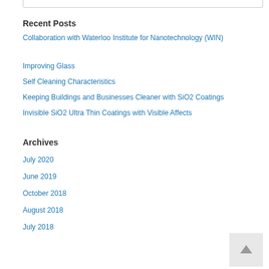Recent Posts
Collaboration with Waterloo Institute for Nanotechnology (WIN)
Improving Glass
Self Cleaning Characteristics
Keeping Buildings and Businesses Cleaner with SiO2 Coatings
Invisible SiO2 Ultra Thin Coatings with Visible Affects
Archives
July 2020
June 2019
October 2018
August 2018
July 2018